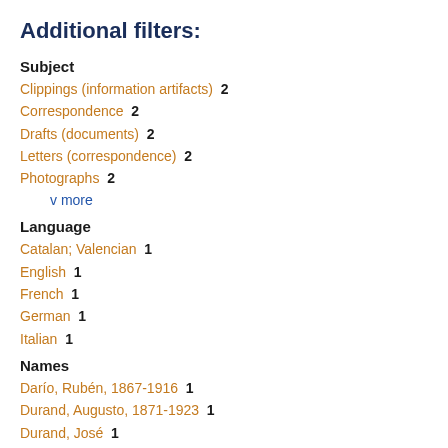Additional filters:
Subject
Clippings (information artifacts)  2
Correspondence  2
Drafts (documents)  2
Letters (correspondence)  2
Photographs  2
v more
Language
Catalan; Valencian  1
English  1
French  1
German  1
Italian  1
Names
Darío, Rubén, 1867-1916  1
Durand, Augusto, 1871-1923  1
Durand, José  1
Flores, Ricardo, 1854-1939  1
Peri Rossi, Cristina, 1941-  1